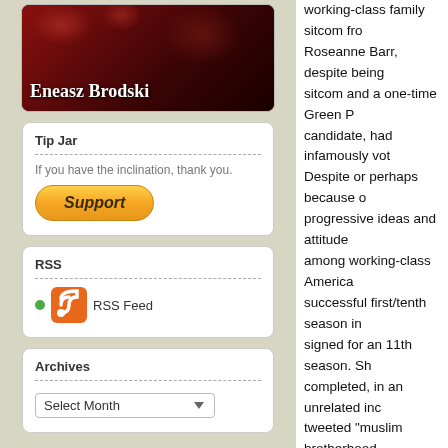[Figure (illustration): Blog logo/header image with dark red splatter background and white bold text reading 'Eneasz Brodski']
Tip Jar
If you have the inclination, thank you.
[Figure (other): PayPal Support button - orange gradient rounded rectangle with bold italic text 'Support']
RSS
RSS Feed
Archives
Select Month
working-class family sitcom fro... Roseanne Barr, despite being ... sitcom and a one-time Green P... candidate, had infamously vot... Despite or perhaps because o... progressive ideas and attitude... among working-class America... successful first/tenth season in... signed for an 11th season. Sh... completed, in an unrelated inc... tweeted "muslim brotherhood ... had a baby = vj." VJ was Valer... woman that Obama called his ... one occasion, and who worked... Obama during his presidency.
Within hours producer (and fa... Wanda Sykes leaves the show... several of her costars posted m... and publicaly quit the show. Le...